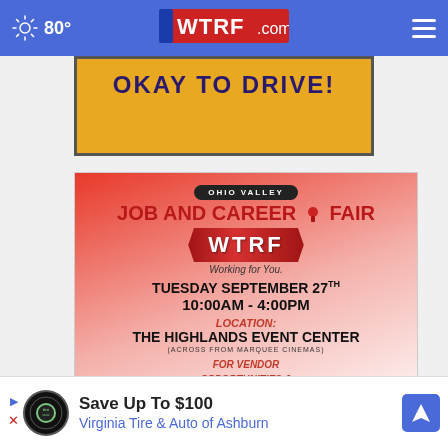80° WTRF.com
[Figure (screenshot): Partial yellow advertisement banner with bold dark blue text reading 'OKAY TO DRIVE!']
[Figure (infographic): Ohio Valley Job and Career Fair event flyer. WTRF Working for You. Tuesday September 27th 10:00AM - 4:00PM. Location: The Highlands Event Center (Across from Marquee Cinemas). For Vendor Opportunities & Event Information.]
[Figure (infographic): Advertisement: Save Up To $100 Virginia Tire & Auto of Ashburn]